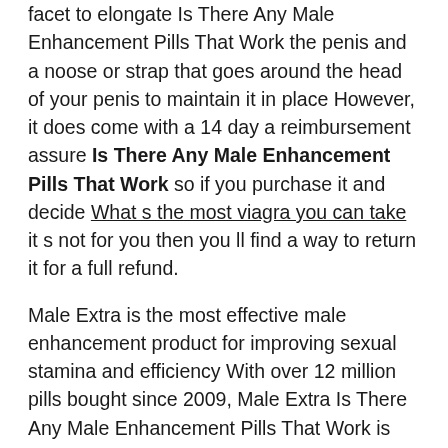facet to elongate Is There Any Male Enhancement Pills That Work the penis and a noose or strap that goes around the head of your penis to maintain it in place However, it does come with a 14 day a reimbursement assure Is There Any Male Enhancement Pills That Work so if you purchase it and decide What s the most viagra you can take it s not for you then you ll find a way to return it for a full refund.
Male Extra is the most effective male enhancement product for improving sexual stamina and efficiency With over 12 million pills bought since 2009, Male Extra Is There Any Male Enhancement Pills That Work is among the most trusted male enhancement brands available on the market However, with so many male enhancement dietary supplements to select from, picking the most effective product can feel overwhelming The reality is that some intercourse tablets for males work AMAZING, while others aren t potent sufficient to provide the Is There Any Male Enhancement Pills That Work results you need Despite their variations, most of them